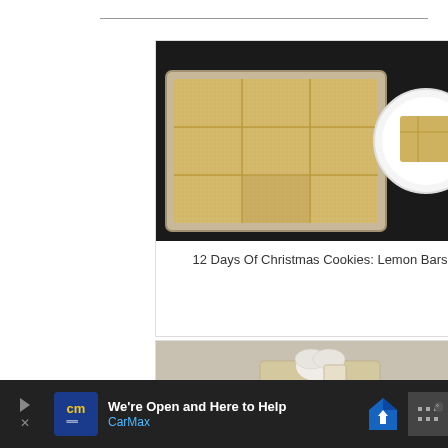[Figure (photo): Lemon bars in a baking pan with one piece on a white plate, viewed from above on a dark background]
12 Days Of Christmas Cookies: Lemon Bars
[Figure (photo): Wrapped gift bag with festive fabric pattern, white ribbon bow, and red berry garland decoration]
We're Open and Here to Help — CarMax advertisement banner